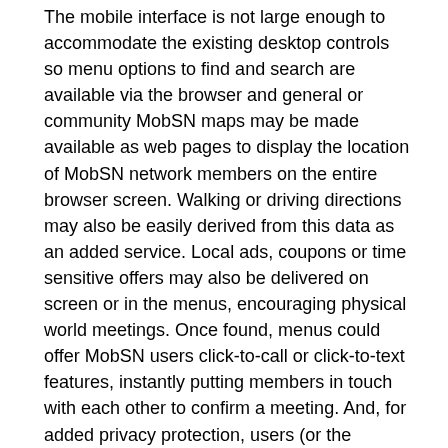The mobile interface is not large enough to accommodate the existing desktop controls so menu options to find and search are available via the browser and general or community MobSN maps may be made available as web pages to display the location of MobSN network members on the entire browser screen. Walking or driving directions may also be easily derived from this data as an added service. Local ads, coupons or time sensitive offers may also be delivered on screen or in the menus, encouraging physical world meetings. Once found, menus could offer MobSN users click-to-call or click-to-text features, instantly putting members in touch with each other to confirm a meeting. And, for added privacy protection, users (or the system) may challenge an invitation or meeting request by asking for some agreed upon phrase, biometric confirmation or alphanumeric code.
In view of the foregoing and in the context of the present example, it should be appreciated that using various embodiments of the present invention all of these selections may be based upon the ability to offer site appropriate contextual menu selections and deliver, with minimal typing, the content that best addresses MobSN